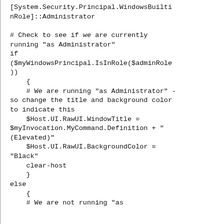[System.Security.Principal.WindowsBuiltinRole]::Administrator

# Check to see if we are currently running "as Administrator"
if
($myWindowsPrincipal.IsInRole($adminRole
))
    {
    # We are running "as Administrator" - so change the title and background color to indicate this
    $Host.UI.RawUI.WindowTitle = $myInvocation.MyCommand.Definition + "(Elevated)"
    $Host.UI.RawUI.BackgroundColor = "Black"
    clear-host
    }
else
    {
    # We are not running "as